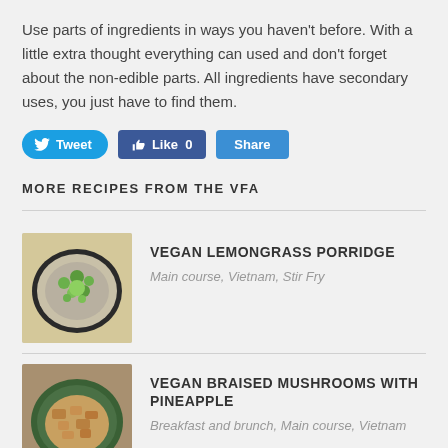Use parts of ingredients in ways you haven't before. With a little extra thought everything can used and don't forget about the non-edible parts. All ingredients have secondary uses, you just have to find them.
[Figure (screenshot): Social media buttons: Tweet (Twitter/blue rounded), Like 0 (Facebook/dark blue), Share (blue)]
MORE RECIPES FROM THE VFA
[Figure (photo): Bowl of vegan lemongrass porridge with green herbs on top, photographed from above]
VEGAN LEMONGRASS PORRIDGE
Main course, Vietnam, Stir Fry
[Figure (photo): Bowl of vegan braised mushrooms with pineapple in a green bowl, photographed from above]
VEGAN BRAISED MUSHROOMS WITH PINEAPPLE
Breakfast and brunch, Main course, Vietnam